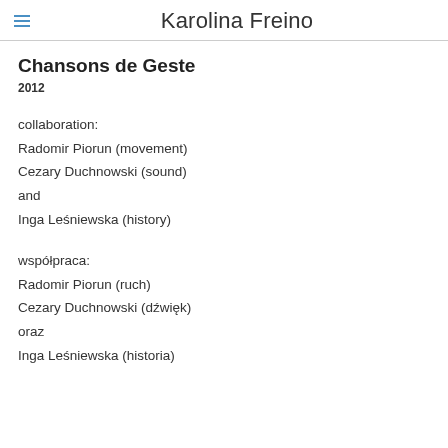Karolina Freino
Chansons de Geste
2012
collaboration:
Radomir Piorun (movement)
Cezary Duchnowski (sound)
and
Inga Leśniewska (history)
współpraca:
Radomir Piorun (ruch)
Cezary Duchnowski (dźwięk)
oraz
Inga Leśniewska (historia)